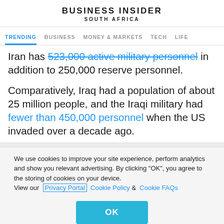BUSINESS INSIDER
SOUTH AFRICA
TRENDING  BUSINESS  MONEY & MARKETS  TECH  LIFE
Iran has 523,000 active military personnel in addition to 250,000 reserve personnel.
Comparatively, Iraq had a population of about 25 million people, and the Iraqi military had fewer than 450,000 personnel when the US invaded over a decade ago.
We use cookies to improve your site experience, perform analytics and show you relevant advertising. By clicking "OK", you agree to the storing of cookies on your device. View our Privacy Portal  Cookie Policy &  Cookie FAQs
OK